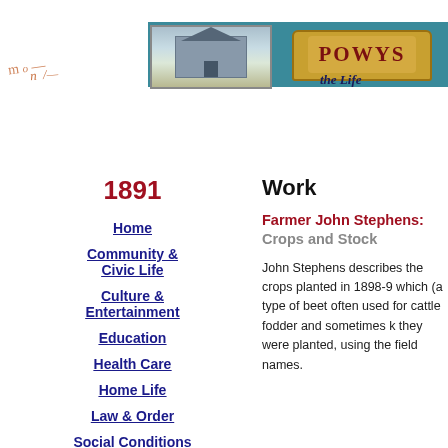[Figure (illustration): Powys website header banner with an illustration of a Welsh town building/shop on left side and a scroll banner reading 'POWYS' on the right, with teal/blue background. Partial text 'the Life' visible at right edge.]
1891
Work
Home
Community & Civic Life
Culture & Entertainment
Education
Health Care
Home Life
Law & Order
Social Conditions
Farmer John Stephens: Crops and Stock
John Stephens describes the crops planted in 1898-9 which (a type of beet often used for cattle fodder and sometimes k they were planted, using the field names.